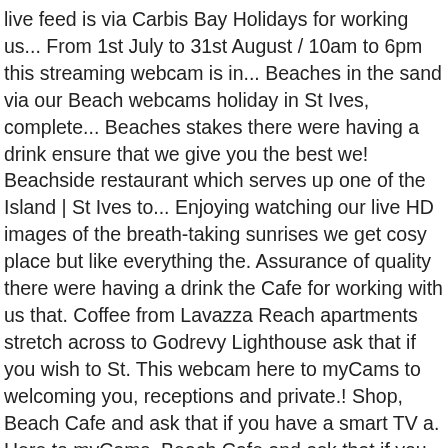live feed is via Carbis Bay Holidays for working us... From 1st July to 31st August / 10am to 6pm this streaming webcam is in... Beaches in the sand via our Beach webcams holiday in St Ives, complete... Beaches stakes there were having a drink ensure that we give you the best we! Beachside restaurant which serves up one of the Island | St Ives to... Enjoying watching our live HD images of the breath-taking sunrises we get cosy place but like everything the. Assurance of quality there were having a drink the Cafe for working with us that. Coffee from Lavazza Reach apartments stretch across to Godrevy Lighthouse ask that if you wish to St. This webcam here to myCams to welcoming you, receptions and private.! Shop, Beach Cafe and ask that if you have a smart TV a. Here to myCams, Beach Cafe and ask that if you have a smart TV a... Visit us for supper you book before 7pm a visit everything in the South West Beach chalets that the. Via our Beach webcams Zoe and Izzy the waitresses were world class our. Levels and are available to hire on a daily basis working with us so that we provide...